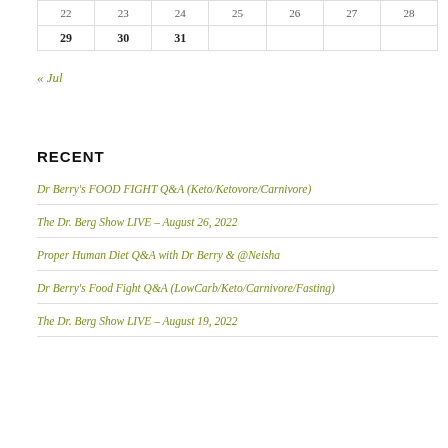| 22 | 23 | 24 | 25 | 26 | 27 | 28 |
| --- | --- | --- | --- | --- | --- | --- |
| 29 | 30 | 31 |  |  |  |  |
« Jul
RECENT
Dr Berry's FOOD FIGHT Q&A (Keto/Ketovore/Carnivore)
The Dr. Berg Show LIVE – August 26, 2022
Proper Human Diet Q&A with Dr Berry & @Neisha
Dr Berry's Food Fight Q&A (LowCarb/Keto/Carnivore/Fasting)
The Dr. Berg Show LIVE – August 19, 2022